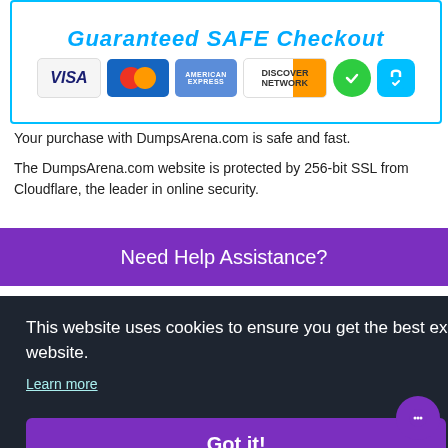[Figure (infographic): Guaranteed SAFE Checkout banner with payment card logos (Visa, MasterCard, American Express, Discover) and security icons (green shield checkmark, blue lock)]
Your purchase with DumpsArena.com is safe and fast.
The DumpsArena.com website is protected by 256-bit SSL from Cloudflare, the leader in online security.
Need Help Assistance?
[Figure (screenshot): Blue rounded button labeled Customer Support]
This website uses cookies to ensure you get the best experience on our website.
Learn more
Got it!
About   Contact